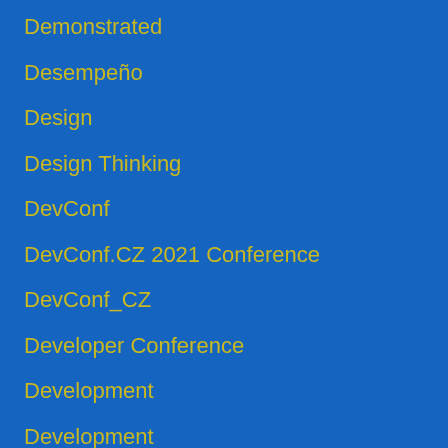Demonstrated
Desempeño
Design
Design Thinking
DevConf
DevConf.CZ 2021 Conference
DevConf_CZ
Developer Conference
Development
Development